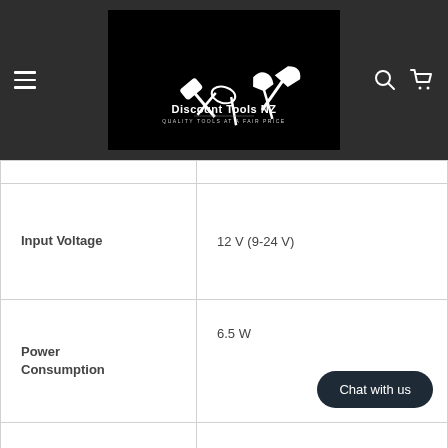[Figure (logo): Discount Tools NZ logo — white tools illustration on black background with text 'Discount Tools NZ' and 'QUALITY TOOLS AT A FAIR PRICE']
| Input Voltage | 12 V (9-24 V) |
| Power Consumption | 6.5 W |